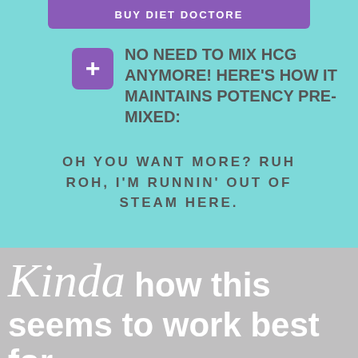BUY DIET DOCTORE
+ NO NEED TO MIX HCG ANYMORE! HERE'S HOW IT MAINTAINS POTENCY PRE-MIXED:
OH YOU WANT MORE? RUH ROH, I'M RUNNIN' OUT OF STEAM HERE.
Kinda how this seems to work best for